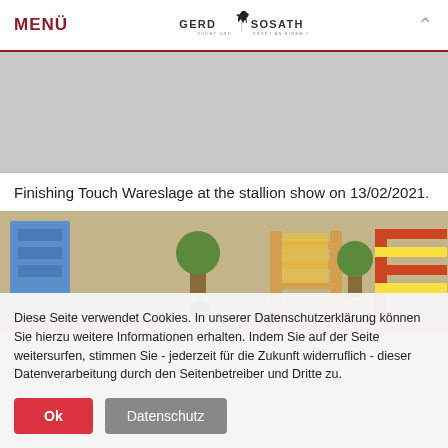MENÜ — GERD SOSATH — ZUCHT UND SPORT AN EINEM ORT
[Figure (photo): Gray placeholder image at top of page]
Finishing Touch Wareslage at the stallion show on 13/02/2021.
[Figure (photo): Equestrian show jumping arena with colorful jump obstacles, potted topiary trees, sandy ground, and a rider with helmet visible at the bottom]
Diese Seite verwendet Cookies. In unserer Datenschutzerklärung können Sie hierzu weitere Informationen erhalten. Indem Sie auf der Seite weitersurfen, stimmen Sie - jederzeit für die Zukunft widerruflich - dieser Datenverarbeitung durch den Seitenbetreiber und Dritte zu.
Ok | Datenschutz